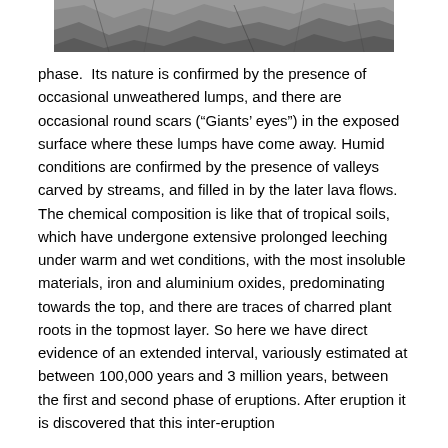[Figure (photo): Partial photograph of rocky surface, cropped at top of page showing stone/rock texture.]
phase.  Its nature is confirmed by the presence of occasional unweathered lumps, and there are occasional round scars (“Giants’ eyes”) in the exposed surface where these lumps have come away. Humid conditions are confirmed by the presence of valleys carved by streams, and filled in by the later lava flows. The chemical composition is like that of tropical soils, which have undergone extensive prolonged leeching under warm and wet conditions, with the most insoluble materials, iron and aluminium oxides, predominating towards the top, and there are traces of charred plant roots in the topmost layer. So here we have direct evidence of an extended interval, variously estimated at between 100,000 years and 3 million years, between the first and second phase of eruptions. After eruption it is discovered that this inter-eruption